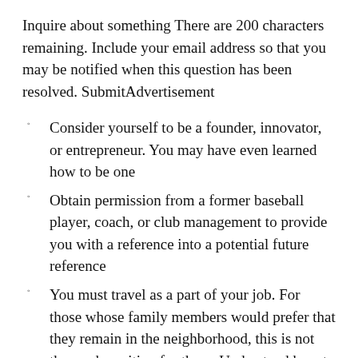Inquire about something There are 200 characters remaining. Include your email address so that you may be notified when this question has been resolved. SubmitAdvertisement
Consider yourself to be a founder, innovator, or entrepreneur. You may have even learned how to be one
Obtain permission from a former baseball player, coach, or club management to provide you with a reference into a potential future reference
You must travel as a part of your job. For those whose family members would prefer that they remain in the neighborhood, this is not the work position for them. Understand how to get a reference from someone who works in a